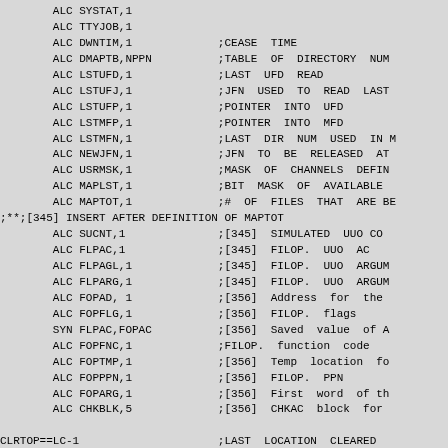ALC SYSTAT,1
        ALC TTYJOB,1
        ALC DWNTIM,1             ;CEASE TIME
        ALC DMAPTB,NPPN         ;TABLE OF DIRECTORY NUM
        ALC LSTUFD,1            ;LAST UFD READ
        ALC LSTUFJ,1            ;JFN USED TO READ LAST 
        ALC LSTUFP,1            ;POINTER INTO UFD
        ALC LSTMFP,1            ;POINTER INTO MFD
        ALC LSTMFN,1            ;LAST DIR NUM USED IN M
        ALC NEWJFN,1            ;JFN TO BE RELEASED AT 
        ALC USRMSK,1            ;MASK OF CHANNELS DEFIN
        ALC MAPLST,1            ;BIT MASK OF AVAILABLE 
        ALC MAPTOT,1            ;# OF FILES THAT ARE BE
;**;[345] INSERT AFTER DEFINITION OF MAPTOT
        ALC SUCNT,1             ;[345] SIMULATED UUO CO
        ALC FLPAC,1             ;[345] FILOP. UUO AC
        ALC FLPAGL,1            ;[345] FILOP. UUO ARGUM
        ALC FLPARG,1            ;[345] FILOP. UUO ARGUM
        ALC FOPAD, 1            ;[356] Address for the 
        ALC FOPFLG,1            ;[356] FILOP. flags
        SYN FLPAC,FOPAC         ;[356] Saved value of A
        ALC FOPFNC,1            ;FILOP. function code
        ALC FOPTMP,1            ;[356] Temp location fo
        ALC FOPPPN,1            ;[356] FILOP. PPN
        ALC FOPARG,1            ;[356] First word of th
        ALC CHKBLK,5            ;[356] CHKAC block for

CLRTOP==LC-1                    ;LAST LOCATION CLEARED 

        ALC STIME,1             ;RUN TIME AT START OF U